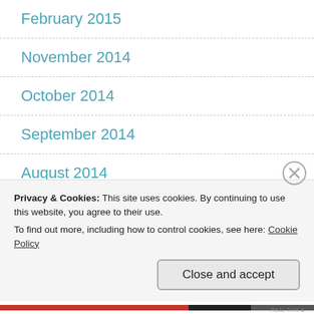February 2015
November 2014
October 2014
September 2014
August 2014
July 2014
May 2014
Privacy & Cookies: This site uses cookies. By continuing to use this website, you agree to their use.
To find out more, including how to control cookies, see here: Cookie Policy
Close and accept